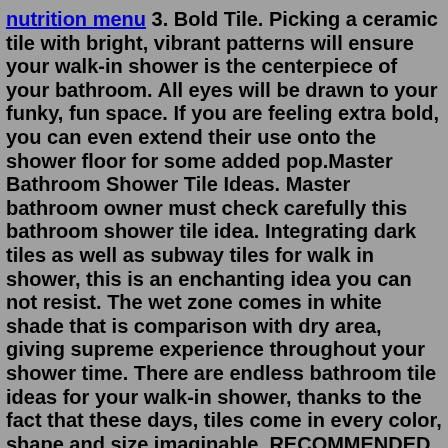nutrition menu 3. Bold Tile. Picking a ceramic tile with bright, vibrant patterns will ensure your walk-in shower is the centerpiece of your bathroom. All eyes will be drawn to your funky, fun space. If you are feeling extra bold, you can even extend their use onto the shower floor for some added pop.Master Bathroom Shower Tile Ideas. Master bathroom owner must check carefully this bathroom shower tile idea. Integrating dark tiles as well as subway tiles for walk in shower, this is an enchanting idea you can not resist. The wet zone comes in white shade that is comparison with dry area, giving supreme experience throughout your shower time. There are endless bathroom tile ideas for your walk-in shower, thanks to the fact that these days, tiles come in every color, shape and size imaginable. RECOMMENDED VIDEOS FOR YOU... 1. Embrace the trend for terrazzo shower tiles (Image credit: Ca Pietra) Terrazzo is having a moment, and no wonder.Frames come in a variety of colors to match or blend with the